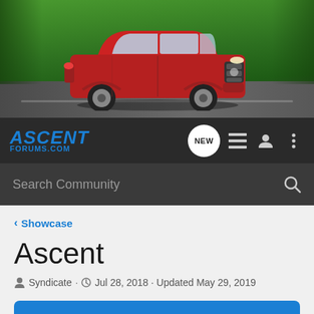[Figure (photo): Red Subaru Ascent SUV driving on a road through green forest trees, banner header image]
[Figure (logo): Ascent Forums .com logo in blue italic text on dark navbar, with NEW chat bubble icon, list icon, user icon, and three-dot menu icon on the right]
Search Community
< Showcase
Ascent
Syndicate · Jul 28, 2018 · Updated May 29, 2019
+ Follow